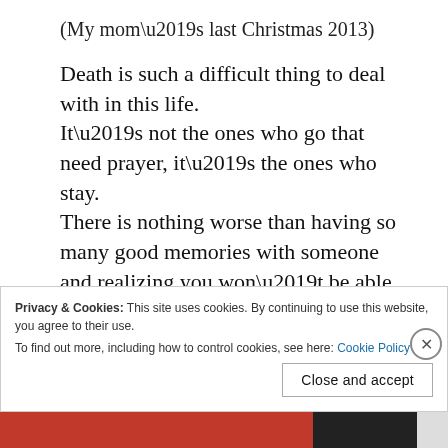(My mom’s last Christmas 2013)
Death is such a difficult thing to deal with in this life.
It’s not the ones who go that need prayer, it’s the ones who stay.
There is nothing worse than having so many good memories with someone and realizing you won’t be able to make anymore together.
No matter how much time passes, you miss them even more.
They say time heals all and it does heal most
Privacy & Cookies: This site uses cookies. By continuing to use this website, you agree to their use.
To find out more, including how to control cookies, see here: Cookie Policy
Close and accept